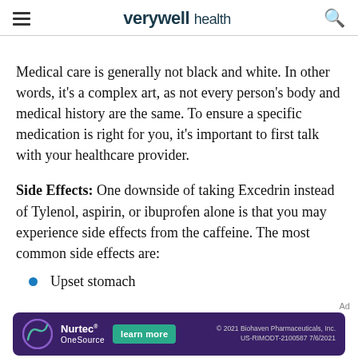verywell health
Medical care is generally not black and white. In other words, it's a complex art, as not every person's body and medical history are the same. To ensure a specific medication is right for you, it's important to first talk with your healthcare provider.
Side Effects: One downside of taking Excedrin instead of Tylenol, aspirin, or ibuprofen alone is that you may experience side effects from the caffeine. The most common side effects are:
Upset stomach
[Figure (other): Nurtec OneSource advertisement banner with learn more button and legal text: © 2021 Biohaven Pharmaceuticals, Inc. US-RIMODT-2100587 7/6/2021]